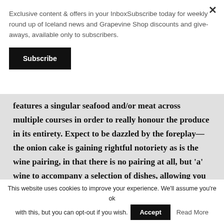Exclusive content & offers in your InboxSubscribe today for weekly round up of Iceland news and Grapevine Shop discounts and give-aways, available only to subscribers.
Subscribe
features a singular seafood and/or meat across multiple courses in order to really honour the produce in its entirety. Expect to be dazzled by the foreplay—the onion cake is gaining rightful notoriety as is the wine pairing, in that there is no pairing at all, but 'a' wine to accompany a selection of dishes, allowing you to discern for yourself what pairing you enjoy best.
This website uses cookies to improve your experience. We'll assume you're ok with this, but you can opt-out if you wish.
Accept
Read More